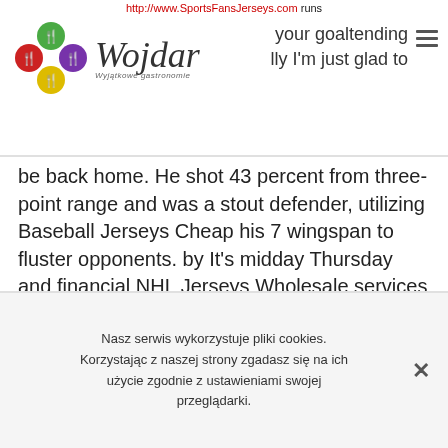http://www.SportsFansJerseys.com runs your goaltending lly I'm just glad to
[Figure (logo): Wojdar restaurant/food blog logo with four colored circles (green, red, purple, yellow) arranged in a flower pattern, each containing a fork/knife icon, beside italic script text 'Wojdar' with tagline 'Wyjatkowe gastronomie']
be back home. He shot 43 percent from three-point range and was a stout defender, utilizing Baseball Jerseys Cheap his 7 wingspan to fluster opponents. by It's midday Thursday and financial NHL Jerseys Wholesale services worker Dave Smith has popped into Rhodes & Beckett's flagship store 's Place to buy a new belt. He followed up this performance with 19 points and five rebounds against the Philadelphia 76ers, 11 points and four rebounds against the Rockets and 23 points and six rebounds versus the San Spurs. Browner was 29 at the time. Also rated by ESPNU as the No.
Nasz serwis wykorzystuje pliki cookies. Korzystając z naszej strony zgadasz się na ich użycie zgodnie z ustawieniami swojej przeglądarki.